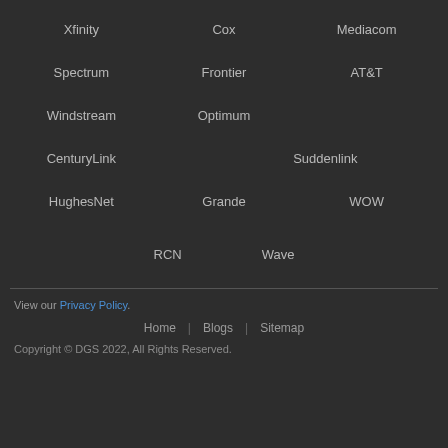Xfinity
Cox
Mediacom
Spectrum
Frontier
AT&T
Windstream
Optimum
CenturyLink
Suddenlink
HughesNet
Grande
WOW
RCN
Wave
View our Privacy Policy.
Home | Blogs | Sitemap
Copyright © DGS 2022, All Rights Reserved.